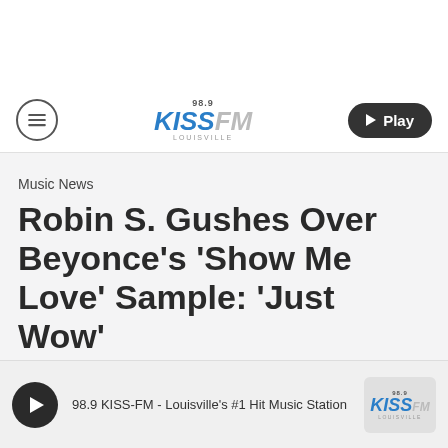[Figure (logo): 98.9 KISS-FM Louisville radio station logo with menu button and Play button in navigation bar]
Music News
Robin S. Gushes Over Beyonce's 'Show Me Love' Sample: 'Just Wow'
By Yashira C.
[Figure (logo): 98.9 KISS-FM bottom player bar with play button and station text: 98.9 KISS-FM - Louisville's #1 Hit Music Station]